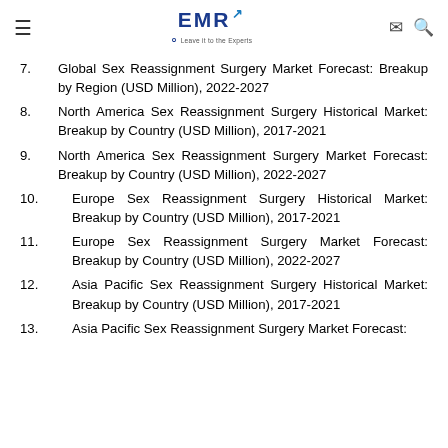EMR - Leave it to the Experts
7. Global Sex Reassignment Surgery Market Forecast: Breakup by Region (USD Million), 2022-2027
8. North America Sex Reassignment Surgery Historical Market: Breakup by Country (USD Million), 2017-2021
9. North America Sex Reassignment Surgery Market Forecast: Breakup by Country (USD Million), 2022-2027
10. Europe Sex Reassignment Surgery Historical Market: Breakup by Country (USD Million), 2017-2021
11. Europe Sex Reassignment Surgery Market Forecast: Breakup by Country (USD Million), 2022-2027
12. Asia Pacific Sex Reassignment Surgery Historical Market: Breakup by Country (USD Million), 2017-2021
13. Asia Pacific Sex Reassignment Surgery Market Forecast: